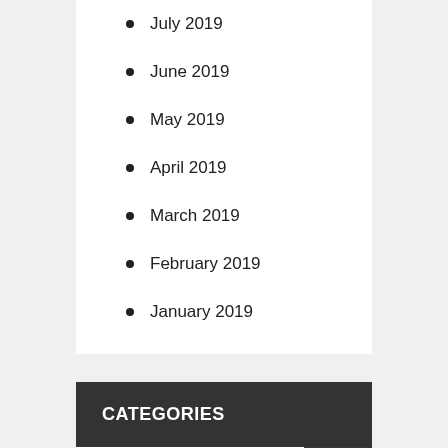July 2019
June 2019
May 2019
April 2019
March 2019
February 2019
January 2019
CATEGORIES
Arts Entertainments